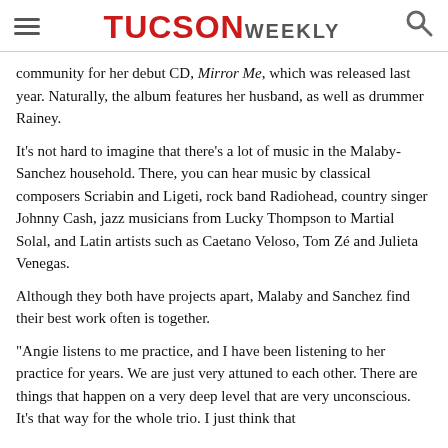TUCSON WEEKLY
community for her debut CD, Mirror Me, which was released last year. Naturally, the album features her husband, as well as drummer Rainey.
It's not hard to imagine that there's a lot of music in the Malaby-Sanchez household. There, you can hear music by classical composers Scriabin and Ligeti, rock band Radiohead, country singer Johnny Cash, jazz musicians from Lucky Thompson to Martial Solal, and Latin artists such as Caetano Veloso, Tom Zé and Julieta Venegas.
Although they both have projects apart, Malaby and Sanchez find their best work often is together.
"Angie listens to me practice, and I have been listening to her practice for years. We are just very attuned to each other. There are things that happen on a very deep level that are very unconscious. It's that way for the whole trio. I just think that